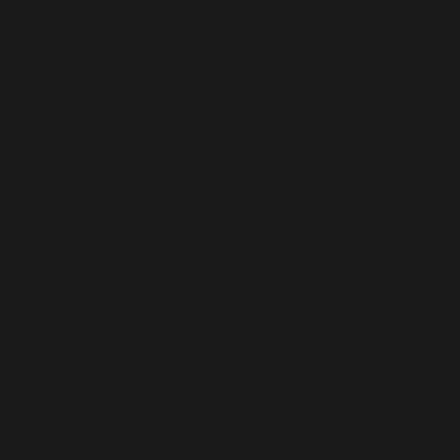As of July 2011, each of COTT's participating authors are required to sign a disclaimer stating that there is no foul language, explicit sex, or defaming of the name of Christ in their novels. Because COTT staff cannot review every novel to verify this, please read at your own discretion.
GRAB OUR BUTTON
[Figure (logo): Clash of the Titles logo/banner image showing crossed swords, a shield, and text 'CLASH OF THE TITLES' with website URL www.clashofthetitles.com]
Here's the button code:
<div align="center"><a href="http://clashofthetitles.com" rel="nofollow" title="Clash of the Titles" target="_blank"><img
SOCIAL SHARE
[Figure (other): Social share icons: Twitter (blue bird), Facebook (blue f), RSS (orange)]